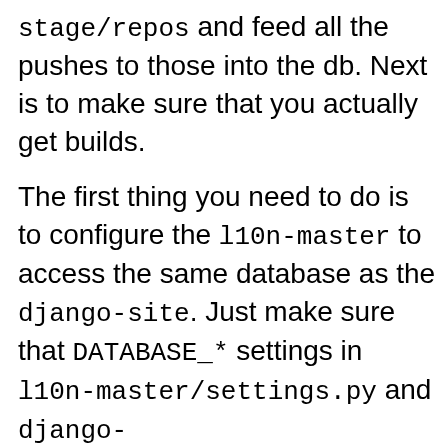stage/repos and feed all the pushes to those into the db. Next is to make sure that you actually get builds.
The first thing you need to do is to configure the l10n-master to access the same database as the django-site. Just make sure that DATABASE_* settings in l10n-master/settings.py and django-site/l10n_site/settings.py match. The other